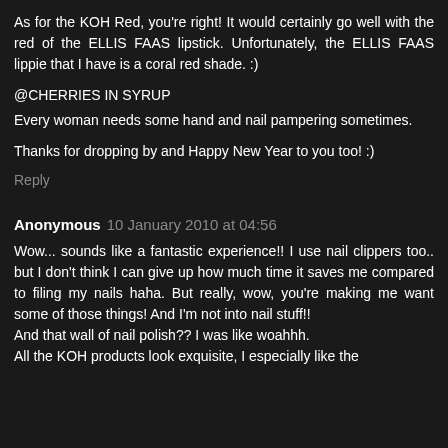As for the KOH Red, you're right! It would certainly go well with the red of the ELLIS FAAS lipstick. Unfortunately, the ELLIS FAAS lippie that I have is a coral red shade. :)
@CHERRIES IN SYRUP
Every woman needs some hand and nail pampering sometimes.
Thanks for dropping by and Happy New Year to you too! :)
Reply
Anonymous 10 January 2010 at 04:56
Wow... sounds like a fantastic experience!! I use nail clippers too.. but I don't think I can give up how much time it saves me compared to filing my nails haha. But really, wow, you're making me want some of those things! And I'm not into nail stuff!!
And that wall of nail polish?? I was like woahhh.
All the KOH products look exquisite, I especially like the